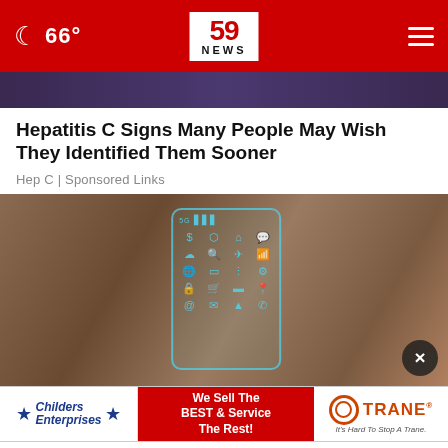66° | 59 NEWS
[Figure (photo): Partial image of people at top of page, partially cut off]
Hepatitis C Signs Many People May Wish They Identified Them Sooner
Hep C | Sponsored Links
[Figure (photo): Hands holding a futuristic transparent smartphone with glowing blue icons including dollar sign, house, plane, cart, location pin, and app grid. A close button (X) appears in the lower right corner.]
[Figure (photo): Advertisement banner: Childers Enterprises (We Sell The BEST & Service The Rest!) with Trane logo (It's Hard To Stop A Trane)]
See Goodbye to Your Cell Phone With Trane and...